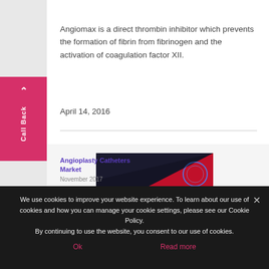[Figure (other): Pink/magenta colored button at top of content area]
Angiomax is a direct thrombin inhibitor which prevents the formation of fibrin from fibrinogen and the activation of coagulation factor XII.
April 14, 2016
[Figure (other): Call Back tab on left sidebar with upward arrow icon]
[Figure (other): Angioplasty Catheters Market report cover thumbnail with dark background and colorful design]
Angioplasty Catheters Market
November 2017
We use cookies to improve your website experience. To learn about our use of cookies and how you can manage your cookie settings, please see our Cookie Policy.
By continuing to use the website, you consent to our use of cookies.
Ok
Read more